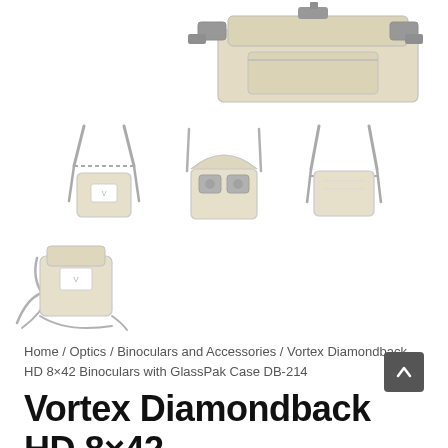[Figure (photo): Product gallery showing binocular harness/GlassPak case from multiple angles: main image top-right showing tan/khaki binocular case with black clips, three thumbnails in middle row showing front harness view, open case view, and back view, and one thumbnail bottom-left showing case with straps laid out]
Home / Optics / Binoculars and Accessories / Vortex Diamondback HD 8×42 Binoculars with GlassPak Case DB-214
Vortex Diamondback HD 8×42 Binoculars with GlassPak C...